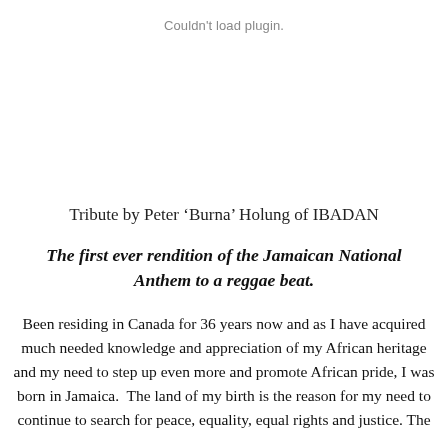Couldn't load plugin.
Tribute by Peter ‘Burna’ Holung of IBADAN
The first ever rendition of the Jamaican National Anthem to a reggae beat.
Been residing in Canada for 36 years now and as I have acquired much needed knowledge and appreciation of my African heritage and my need to step up even more and promote African pride, I was born in Jamaica.  The land of my birth is the reason for my need to continue to search for peace, equality, equal rights and justice. The